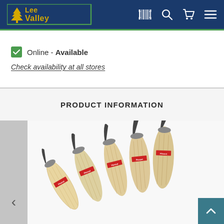[Figure (logo): Lee Valley Tools logo - yellow tree and yellow text 'LeeValley' on dark navy background, with navigation icons (barcode scanner, search, cart, menu) on the right]
Online - Available
Check availability at all stores
PRODUCT INFORMATION
[Figure (photo): Five Flexcut brand wood carving knives with light wood handles fanned out, showing curved steel blades, arranged on white background]